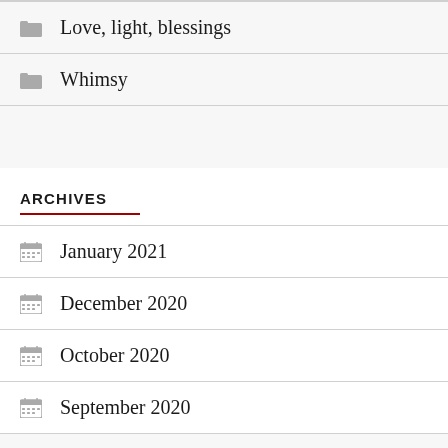Love, light, blessings
Whimsy
ARCHIVES
January 2021
December 2020
October 2020
September 2020